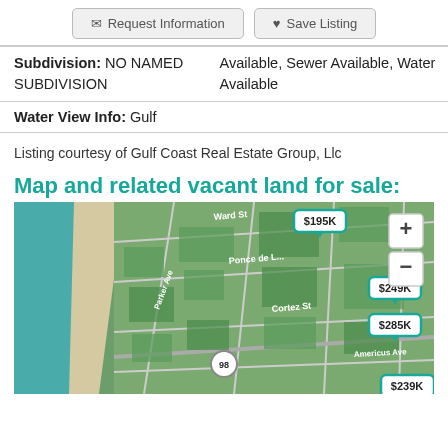Request Information | Save Listing
| Field | Value |
| --- | --- |
| Subdivision: | NO NAMED SUBDIVISION | Available, Sewer Available, Water Available |
Water View Info: Gulf
Listing courtesy of Gulf Coast Real Estate Group, Llc
Map and related vacant land for sale:
[Figure (map): Aerial satellite map showing coastal area near Parker Ave, Ponce de Leon, Ward St, Cortez St, Americus Ave, US-98 highway. Price tags shown: $195K, $249K, $285K, $239K. Map has zoom in/out controls.]